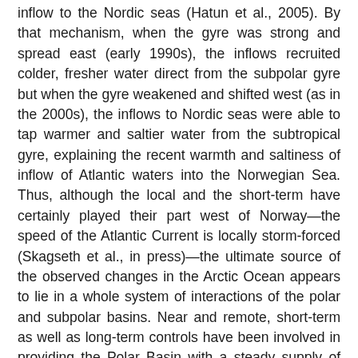inflow to the Nordic seas (Hatun et al., 2005). By that mechanism, when the gyre was strong and spread east (early 1990s), the inflows recruited colder, fresher water direct from the subpolar gyre but when the gyre weakened and shifted west (as in the 2000s), the inflows to Nordic seas were able to tap warmer and saltier water from the subtropical gyre, explaining the recent warmth and saltiness of inflow of Atlantic waters into the Norwegian Sea. Thus, although the local and the short-term have certainly played their part west of Norway—the speed of the Atlantic Current is locally storm-forced (Skagseth et al., in press)—the ultimate source of the observed changes in the Arctic Ocean appears to lie in a whole system of interactions of the polar and subpolar basins. Near and remote, short-term as well as long-term controls have been involved in providing the Polar Basin with a steady supply of increasingly warmer water through sub-Arctic seas.
We have undertaken a range of...